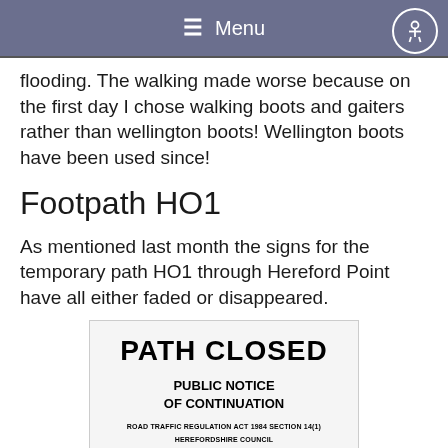Menu
flooding. The walking made worse because on the first day I chose walking boots and gaiters rather than wellington boots! Wellington boots have been used since!
Footpath HO1
As mentioned last month the signs for the temporary path HO1 through Hereford Point have all either faded or disappeared.
[Figure (other): PATH CLOSED public notice sign showing: PATH CLOSED in bold, PUBLIC NOTICE OF CONTINUATION, ROAD TRAFFIC REGULATION ACT 1984 SECTION 14(1), HEREFORDSHIRE COUNCIL PUBLIC FOOTPATH HO1, HOLMER, (TEMPORARY CLOSURE) ORDER 2018]